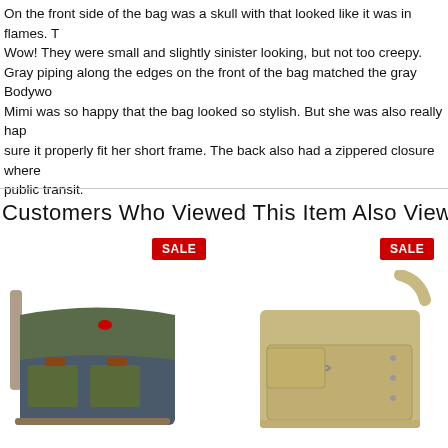On the front side of the bag was a skull with that looked like it was in flames. T Wow! They were small and slightly sinister looking, but not too creepy. Gray piping along the edges on the front of the bag matched the gray Bodywo Mimi was so happy that the bag looked so stylish. But she was also really hap sure it properly fit her short frame. The back also had a zippered closure where public transit.
Customers Who Viewed This Item Also Viewed
[Figure (photo): Olive green and denim canvas messenger bag with brown leather accents and multiple front pockets, shown with SALE badge]
[Figure (photo): Tan/khaki canvas messenger bag with multiple front pockets and shoulder strap, shown with SALE badge]